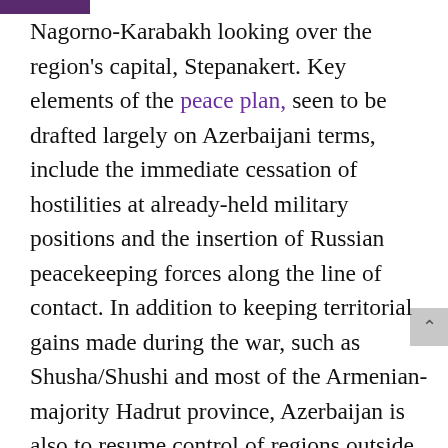Nagorno-Karabakh looking over the region's capital, Stepanakert. Key elements of the peace plan, seen to be drafted largely on Azerbaijani terms, include the immediate cessation of hostilities at already-held military positions and the insertion of Russian peacekeeping forces along the line of contact. In addition to keeping territorial gains made during the war, such as Shusha/Shushi and most of the Armenian-majority Hadrut province, Azerbaijan is also to resume control of regions outside Nagorno-Karabakh that had been controlled by Armenian forces since the end of the previous war in 1994. The Nagorno-Karabakh Republic, whose future status is not mentioned in the document, is to retain control of the areas surrounding the key Armenian cities of Stepanakert, Martakert, and Martuni. Stepanakert itself is to be linked to Armenia proper by the Lachin Corridor, with security there also to be guaranteed by